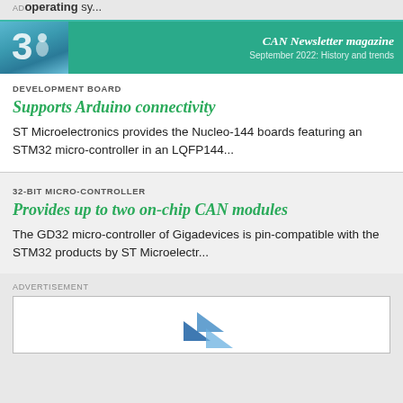AD operating sy...
[Figure (logo): CAN Newsletter magazine banner with logo and text: CAN Newsletter magazine, September 2022: History and trends]
DEVELOPMENT BOARD
Supports Arduino connectivity
ST Microelectronics provides the Nucleo-144 boards featuring an STM32 micro-controller in an LQFP144...
32-BIT MICRO-CONTROLLER
Provides up to two on-chip CAN modules
The GD32 micro-controller of Gigadevices is pin-compatible with the STM32 products by ST Microelectr...
ADVERTISEMENT
[Figure (illustration): Advertisement box with blue arrow/logo graphic at bottom center]